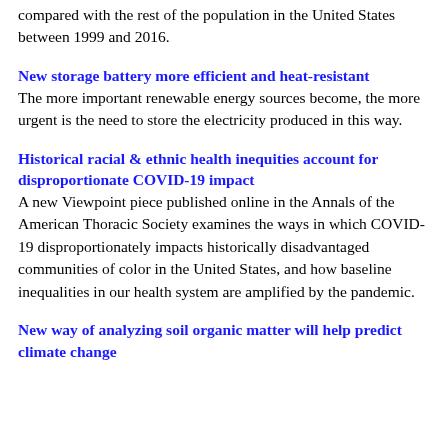compared with the rest of the population in the United States between 1999 and 2016.
New storage battery more efficient and heat-resistant
The more important renewable energy sources become, the more urgent is the need to store the electricity produced in this way.
Historical racial & ethnic health inequities account for disproportionate COVID-19 impact
A new Viewpoint piece published online in the Annals of the American Thoracic Society examines the ways in which COVID-19 disproportionately impacts historically disadvantaged communities of color in the United States, and how baseline inequalities in our health system are amplified by the pandemic.
New way of analyzing soil organic matter will help predict climate change